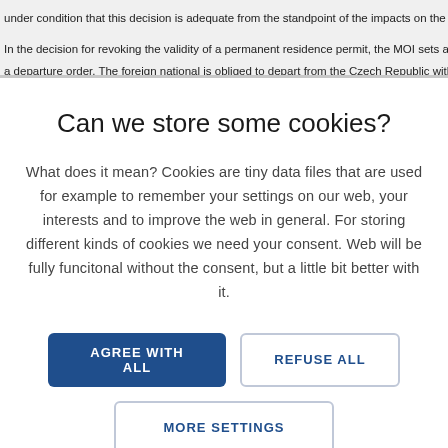under condition that this decision is adequate from the standpoint of the impacts on the f
In the decision for revoking the validity of a permanent residence permit, the MOI sets a a departure order. The foreign national is obliged to depart from the Czech Republic with
Can we store some cookies?
What does it mean? Cookies are tiny data files that are used for example to remember your settings on our web, your interests and to improve the web in general. For storing different kinds of cookies we need your consent. Web will be fully funcitonal without the consent, but a little bit better with it.
AGREE WITH ALL
REFUSE ALL
MORE SETTINGS